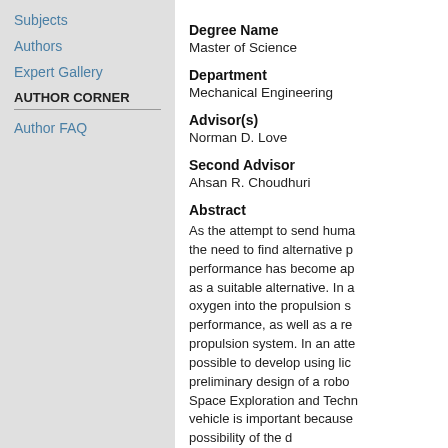Subjects
Authors
Expert Gallery
AUTHOR CORNER
Author FAQ
Degree Name
Master of Science
Department
Mechanical Engineering
Advisor(s)
Norman D. Love
Second Advisor
Ahsan R. Choudhuri
Abstract
As the attempt to send huma the need to find alternative p performance has become ap as a suitable alternative. In a oxygen into the propulsion s performance, as well as a re propulsion system. In an att possible to develop using lic preliminary design of a robo Space Exploration and Techn vehicle is important because possibility of the d